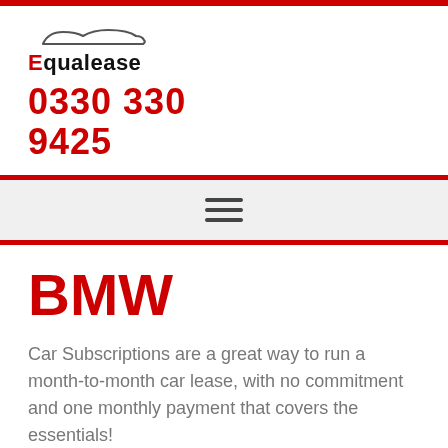[Figure (logo): Equalease logo with car silhouette above the brand name]
0330 330 9425
[Figure (other): Hamburger menu icon (three horizontal lines) on a light grey navigation bar]
BMW
Car Subscriptions are a great way to run a month-to-month car lease, with no commitment and one monthly payment that covers the essentials!
Vehicle Rental